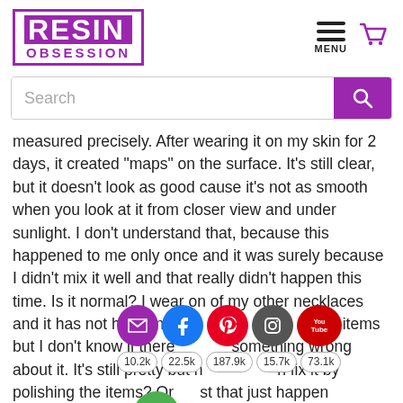[Figure (logo): Resin Obsession logo — purple box with RESIN in white on purple background and OBSESSION in purple text below]
[Figure (infographic): Hamburger menu icon with MENU label and purple shopping cart icon]
[Figure (screenshot): Search bar with placeholder text Search and purple search button]
measured precisely. After wearing it on my skin for 2 days, it created “maps” on the surface. It’s still clear, but it doesn’t look as good cause it’s not as smooth when you look at it from closer view and under sunlight. I don’t understand that, because this happened to me only once and it was surely because I didn’t mix it well and that really didn’t happen this time. Is it normal? I wear on of my other necklaces and it has not happened to two of my items but I don’t know if there isn’t something wrong about it. It’s still pretty but maybe I can fix it by polishing the items? Or is that just happen because it reacts with skin oil and sweat? I used
[Figure (infographic): Social share buttons: email (purple), Facebook (blue), Pinterest (red), Instagram (grey), YouTube (red) with counts 10.2k, 22.5k, 187.9k, 15.7k, 73.1k]